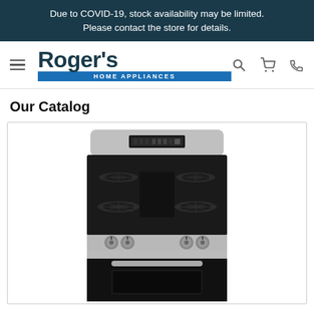Due to COVID-19, stock availability may be limited. Please contact the store for details.
[Figure (logo): Roger's Home Appliances logo with hamburger menu, search, cart, and phone icons]
Our Catalog
[Figure (photo): Stainless steel and black gas range/stove with four burners and four control knobs, oven below]